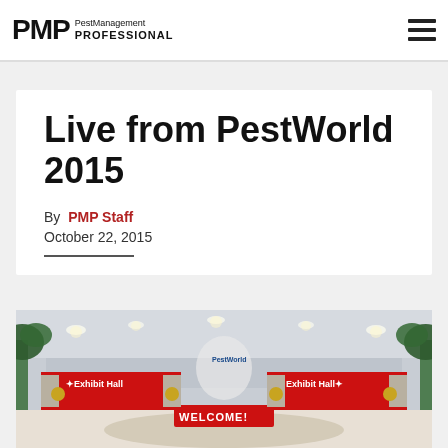PMP PestManagement PROFESSIONAL
Live from PestWorld 2015
By PMP Staff
October 22, 2015
[Figure (photo): PestWorld 2015 Exhibit Hall entrance with red banners reading 'Exhibit Hall' and a WELCOME sign on a circular podium, indoor convention center setting with palm trees and overhead lighting]